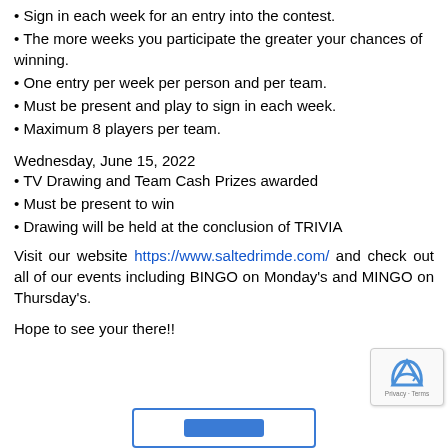Sign in each week for an entry into the contest.
The more weeks you participate the greater your chances of winning.
One entry per week per person and per team.
Must be present and play to sign in each week.
Maximum 8 players per team.
Wednesday, June 15, 2022
TV Drawing and Team Cash Prizes awarded
Must be present to win
Drawing will be held at the conclusion of TRIVIA
Visit our website https://www.saltedrimde.com/ and check out all of our events including BINGO on Monday's and MINGO on Thursday's.
Hope to see your there!!